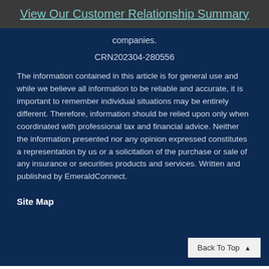View Our Customer Relationship Summary
companies.
CRN202304-280556
The information contained in this article is for general use and while we believe all information to be reliable and accurate, it is important to remember individual situations may be entirely different. Therefore, information should be relied upon only when coordinated with professional tax and financial advice. Neither the information presented nor any opinion expressed constitutes a representation by us or a solicitation of the purchase or sale of any insurance or securities products and services. Written and published by EmeraldConnect.
Site Map
Back To Top